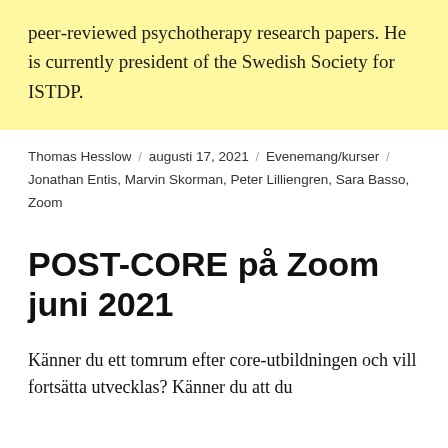peer-reviewed psychotherapy research papers. He is currently president of the Swedish Society for ISTDP.
Thomas Hesslow / augusti 17, 2021 / Evenemang/kurser / Jonathan Entis, Marvin Skorman, Peter Lilliengren, Sara Basso, Zoom
POST-CORE på Zoom juni 2021
Känner du ett tomrum efter core-utbildningen och vill fortsätta utvecklas? Känner du att du